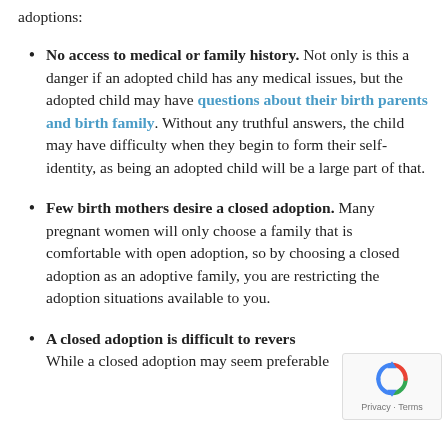adoptions:
No access to medical or family history. Not only is this a danger if an adopted child has any medical issues, but the adopted child may have questions about their birth parents and birth family. Without any truthful answers, the child may have difficulty when they begin to form their self-identity, as being an adopted child will be a large part of that.
Few birth mothers desire a closed adoption. Many pregnant women will only choose a family that is comfortable with open adoption, so by choosing a closed adoption as an adoptive family, you are restricting the adoption situations available to you.
A closed adoption is difficult to revers... While a closed adoption may seem preferable